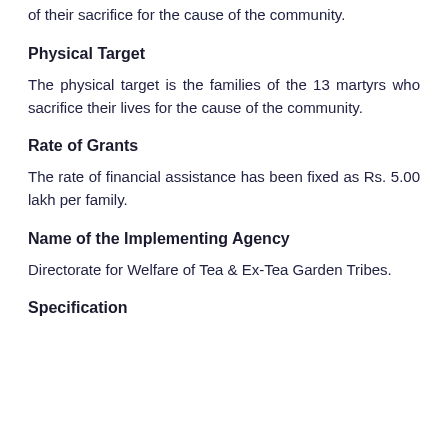of their sacrifice for the cause of the community.
Physical Target
The physical target is the families of the 13 martyrs who sacrifice their lives for the cause of the community.
Rate of Grants
The rate of financial assistance has been fixed as Rs. 5.00 lakh per family.
Name of the Implementing Agency
Directorate for Welfare of Tea & Ex-Tea Garden Tribes.
Specification